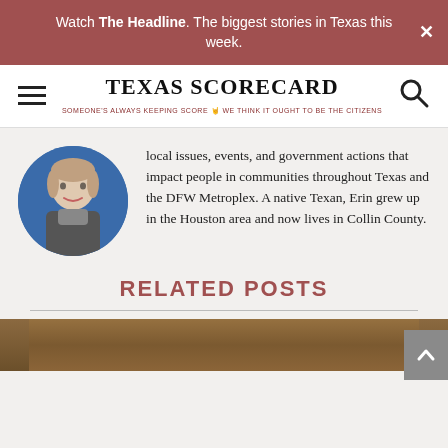Watch The Headline. The biggest stories in Texas this week.
[Figure (logo): Texas Scorecard logo with hamburger menu and search icon]
local issues, events, and government actions that impact people in communities throughout Texas and the DFW Metroplex. A native Texan, Erin grew up in the Houston area and now lives in Collin County.
RELATED POSTS